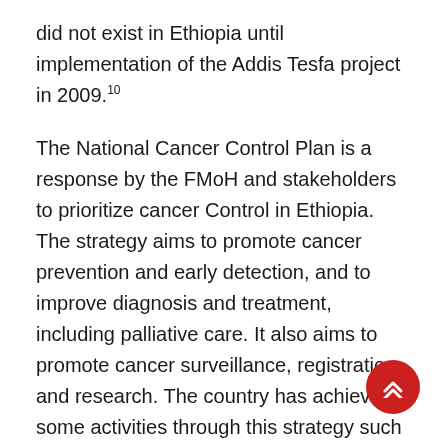did not exist in Ethiopia until implementation of the Addis Tesfa project in 2009.10
The National Cancer Control Plan is a response by the FMoH and stakeholders to prioritize cancer Control in Ethiopia. The strategy aims to promote cancer prevention and early detection, and to improve diagnosis and treatment, including palliative care. It also aims to promote cancer surveillance, registration and research. The country has achieved some activities through this strategy such as cervical cancer information dissemination for community through health extension workers, HPV vaccination for before sexually active girls and expansion of cancer treatment services.1 The Ethiopian Health Sector Development Plan IV (HSDP-IV) is a policy in Ethiopia which includes the prevention and control of cancer. Based on this policy guidance, Federal Ministry of